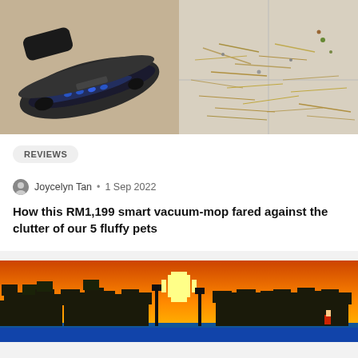[Figure (photo): Left: vacuum cleaner head with blue LED lights on carpet. Right: scattered hay/grass mess on floor with small objects.]
REVIEWS
Joycelyn Tan • 1 Sep 2022
How this RM1,199 smart vacuum-mop fared against the clutter of our 5 fluffy pets
[Figure (photo): Minecraft sunset scene with blocky trees silhouetted against an orange and yellow sky with a bright sun.]